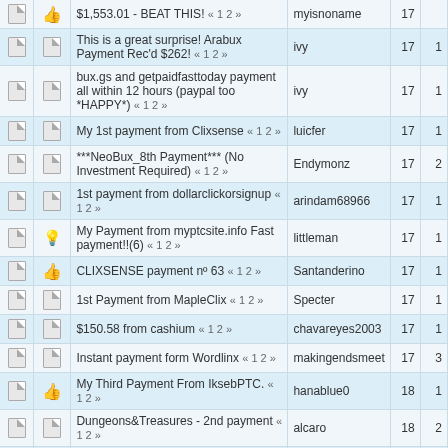|  |  | Topic | User | Replies | Views |
| --- | --- | --- | --- | --- | --- |
|  | 👍 | $1,553.01 - BEAT THIS! « 1 2 » | myisnoname | 17 |  |
|  | doc | This is a great surprise! Arabux Payment Rec'd $262! « 1 2 » | ivy | 17 | 1 |
|  | doc | bux.gs and getpaidfasttoday payment all within 12 hours (paypal too *HAPPY*) « 1 2 » | ivy | 17 | 1 |
|  | doc | My 1st payment from Clixsense « 1 2 » | luicfer | 17 | 1 |
|  | doc | ***NeoBux_8th Payment*** (No Investment Required) « 1 2 » | Endymonz | 17 | 2 |
|  | doc | 1st payment from dollarclickorsignup « 1 2 » | arindam68966 | 17 | 1 |
|  | 💡 | My Payment from myptcsite.info Fast payment!!(6) « 1 2 » | littleman | 17 | 1 |
|  | 👍 | CLIXSENSE payment nº 63 « 1 2 » | Santanderino | 17 | 1 |
|  | doc | 1st Payment from MapleClix « 1 2 » | Specter | 17 | 1 |
|  | doc | $150.58 from cashium « 1 2 » | chavareyes2003 | 17 | 1 |
|  | doc | Instant payment form Wordlinx « 1 2 » | makingendsmeet | 17 | 3 |
|  | 👍 | My Third Payment From IksebPTC. « 1 2 » | hanablue0 | 18 | 1 |
|  | doc | Dungeons&Treasures - 2nd payment « 1 2 » | alcaro | 18 | 2 |
|  | 😞 | Foreverclix and Ultimateclix « 1 2 » | krazy4 | 18 | 2 |
|  | 😞 | buxberry « 1 2 » | julildl | 18 | 3 |
|  | 👍 | My Second Payment From | hanablue0 | 18 |  |